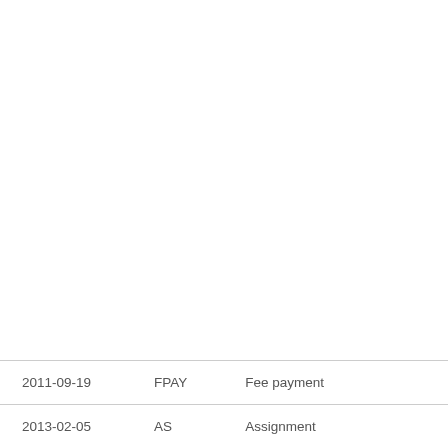| 2011-09-19 | FPAY | Fee payment |
| 2013-02-05 | AS | Assignment |